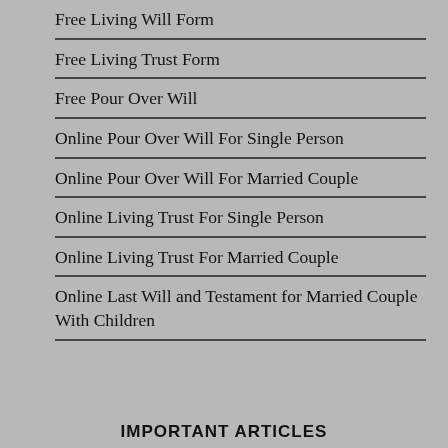Free Living Will Form
Free Living Trust Form
Free Pour Over Will
Online Pour Over Will For Single Person
Online Pour Over Will For Married Couple
Online Living Trust For Single Person
Online Living Trust For Married Couple
Online Last Will and Testament for Married Couple With Children
IMPORTANT ARTICLES